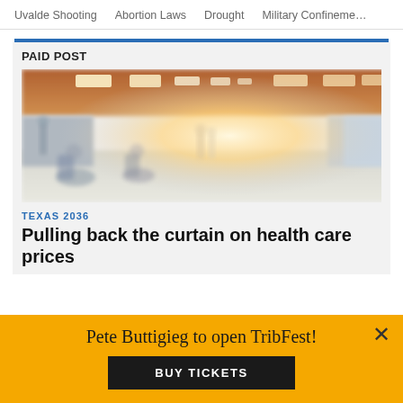Uvalde Shooting    Abortion Laws    Drought    Military Confinement
PAID POST
[Figure (photo): Blurred hospital corridor with patients in wheelchairs and healthcare workers walking in the background, warm orange ceiling lights]
TEXAS 2036
Pulling back the curtain on health care prices
Pete Buttigieg to open TribFest!
BUY TICKETS